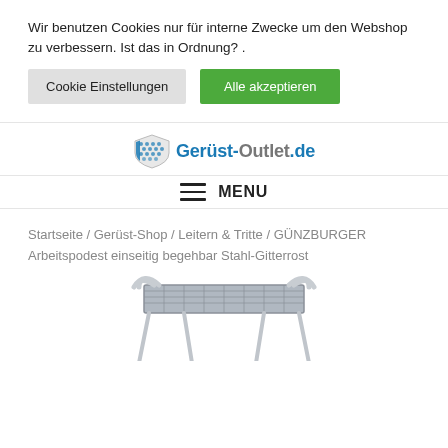Wir benutzen Cookies nur für interne Zwecke um den Webshop zu verbessern. Ist das in Ordnung? .
Cookie Einstellungen
Alle akzeptieren
[Figure (logo): Gerüst-Outlet.de logo with shield graphic and blue/grey text]
MENU
Startseite / Gerüst-Shop / Leitern & Tritte / GÜNZBURGER Arbeitspodest einseitig begehbar Stahl-Gitterrost
[Figure (photo): Partial photo of a GÜNZBURGER steel grating work platform (Arbeitspodest) shown from above at an angle, silver/grey colored aluminium step stool with grating top and handles]